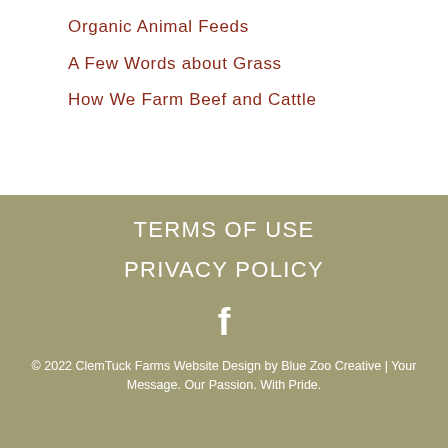Organic Animal Feeds
A Few Words about Grass
How We Farm Beef and Cattle
TERMS OF USE
PRIVACY POLICY
[Figure (logo): Facebook logo icon (letter f)]
© 2022 ClemTuck Farms Website Design by Blue Zoo Creative | Your Message. Our Passion. With Pride.